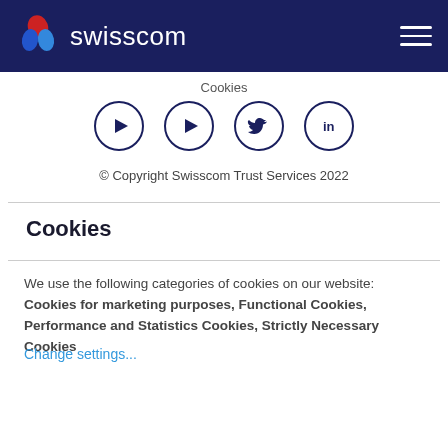swisscom
Cookies
[Figure (illustration): Four circular social media icons: YouTube (x2), Twitter, LinkedIn — outlined in dark navy blue on white background]
© Copyright Swisscom Trust Services 2022
Cookies
We use the following categories of cookies on our website: Cookies for marketing purposes, Functional Cookies, Performance and Statistics Cookies, Strictly Necessary Cookies
Change settings...
Accept